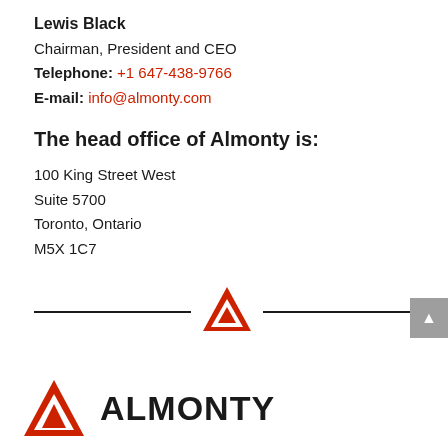Lewis Black
Chairman, President and CEO
Telephone: +1 647-438-9766
E-mail: info@almonty.com
The head office of Almonty is:
100 King Street West
Suite 5700
Toronto, Ontario
M5X 1C7
[Figure (logo): Almonty red triangle logo centered between two horizontal divider lines]
[Figure (logo): Almonty Industries logo at bottom left: red triangle icon with ALMONTY wordmark in black bold text]